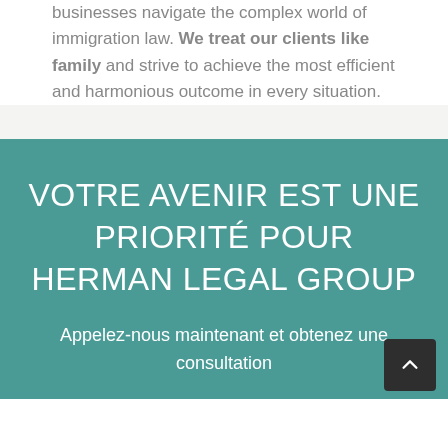businesses navigate the complex world of immigration law. We treat our clients like family and strive to achieve the most efficient and harmonious outcome in every situation.
VOTRE AVENIR EST UNE PRIORITÉ POUR HERMAN LEGAL GROUP
Appelez-nous maintenant et obtenez une consultation